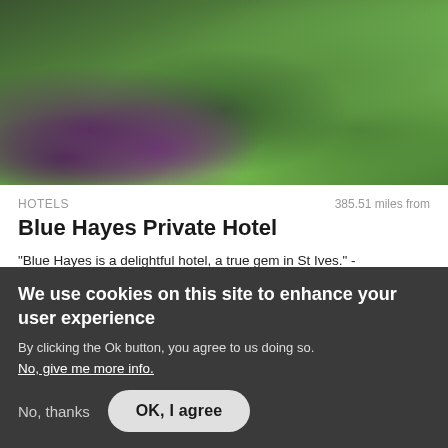[Figure (photo): Aerial or close-up photo of green garden/lawn with purple and pink flowering plants in the lower-left area, lush green grass visible.]
HOTELS   385.51 miles from
Blue Hayes Private Hotel
"Blue Hayes is a delightful hotel, a true gem in St Ives." - VisitEngland Assessor
REGION
St Ives, Cornwall
We use cookies on this site to enhance your user experience
By clicking the Ok button, you agree to us doing so.
No, give me more info.
No, thanks   OK, I agree